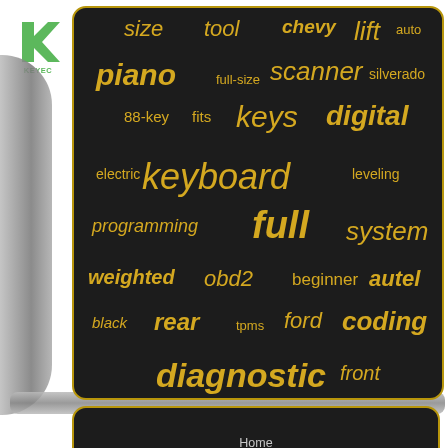[Figure (logo): Keyecu green K logo with KEYECU text below]
[Figure (infographic): Word cloud / tag cloud on dark background with gold/yellow text including words: size, tool, chevy, lift, auto, piano, full-size, scanner, silverado, 88-key, fits, keys, digital, keyboard, electric, leveling, programming, full, system, weighted, obd2, beginner, autel, black, rear, tpms, ford, coding, diagnostic, front]
Home
Contact Form
Privacy Policies
Terms of Use